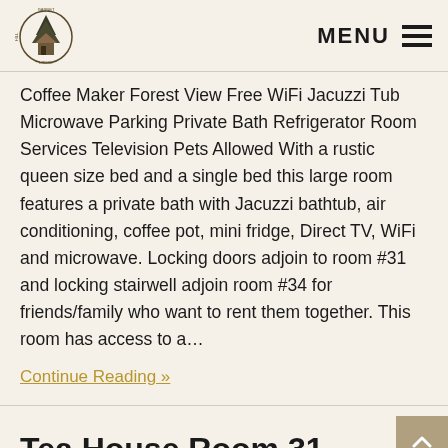Garnet Hill Lodge | MENU
Coffee Maker Forest View Free WiFi Jacuzzi Tub Microwave Parking Private Bath Refrigerator Room Services Television Pets Allowed With a rustic queen size bed and a single bed this large room features a private bath with Jacuzzi bathtub, air conditioning, coffee pot, mini fridge, Direct TV, WiFi and microwave. Locking doors adjoin to room #31 and locking stairwell adjoin room #34 for friends/family who want to rent them together. This room has access to a…
Continue Reading »
Tea House Room 31